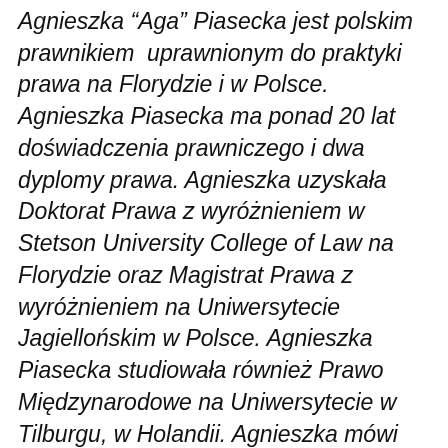Agnieszka "Aga" Piasecka jest polskim prawnikiem uprawnionym do praktyki prawa na Florydzie i w Polsce. Agnieszka Piasecka ma ponad 20 lat doświadczenia prawniczego i dwa dyplomy prawa. Agnieszka uzyskała Doktorat Prawa z wyróżnieniem w Stetson University College of Law na Florydzie oraz Magistrat Prawa z wyróżnieniem na Uniwersytecie Jagiellońskim w Polsce. Agnieszka Piasecka studiowała również Prawo Międzynarodowe na Uniwersytecie w Tilburgu, w Holandii. Agnieszka mówi biegle po polsku, po angielsku oraz po włosku. Aby umówić się na pierwszą bezpłatną konsultacje zadzwoń: